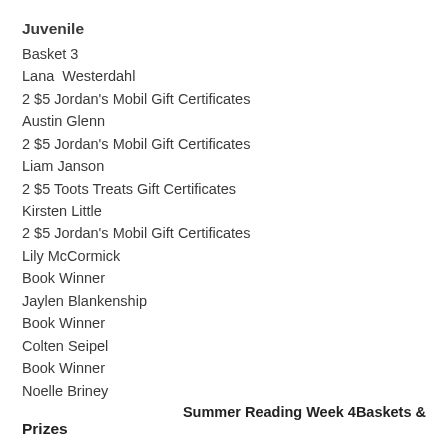Juvenile
Basket 3
Lana  Westerdahl
2 $5 Jordan's Mobil Gift Certificates
Austin Glenn
2 $5 Jordan's Mobil Gift Certificates
Liam Janson
2 $5 Toots Treats Gift Certificates
Kirsten Little
2 $5 Jordan's Mobil Gift Certificates
Lily McCormick
Book Winner
Jaylen Blankenship
Book Winner
Colten Seipel
Book Winner
Noelle Briney
Summer Reading Week 4Baskets & Prizes